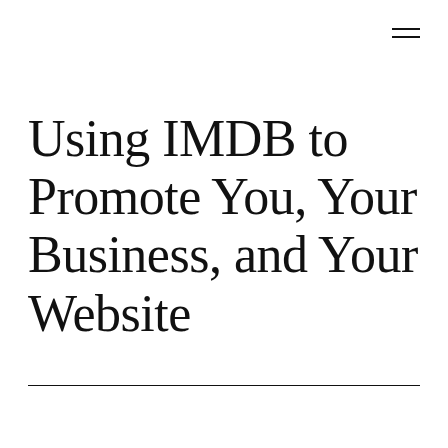≡
Using IMDB to Promote You, Your Business, and Your Website